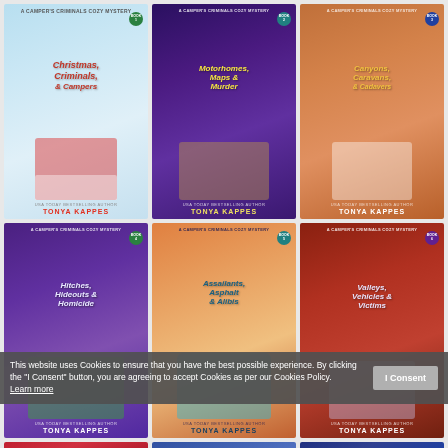[Figure (illustration): Book cover: Christmas, Criminals, & Campers by Tonya Kappes. Light blue winter scene with a red and white vintage camper, snowman, and Christmas tree. USA Today Bestselling Author badge.]
[Figure (illustration): Book cover: Motorhomes, Maps & Murder by Tonya Kappes. Dark purple scene with a beige motorhome and map. USA Today Bestselling Author badge.]
[Figure (illustration): Book cover: Canyons, Caravans, & Cadavers by Tonya Kappes. Orange/brown canyon scene with white caravan. USA Today Bestselling Author badge.]
[Figure (illustration): Book cover: Hitches, Hideouts & Homicide by Tonya Kappes. Purple night scene with a green van and dark figure. USA Today Bestselling Author badge.]
[Figure (illustration): Book cover: Assailants, Asphalt & Alibis by Tonya Kappes. Warm orange/teal scene with a blue van. USA Today Bestselling Author badge.]
[Figure (illustration): Book cover: Valleys, Vehicles & Victims by Tonya Kappes. Red canyon scene with white and purple caravan. USA Today Bestselling Author badge.]
[Figure (illustration): Partial book cover: title includes '& Scandal', red themed cover by Tonya Kappes.]
[Figure (illustration): Partial book cover: title includes 'Turmoil', blue themed cover by Tonya Kappes.]
[Figure (illustration): Partial book cover: title includes 'Kidnapping', dark blue themed cover by Tonya Kappes.]
This website uses Cookies to ensure that you have the best possible experience. By clicking the "I Consent" button, you are agreeing to accept Cookies as per our Cookies Policy. Learn more